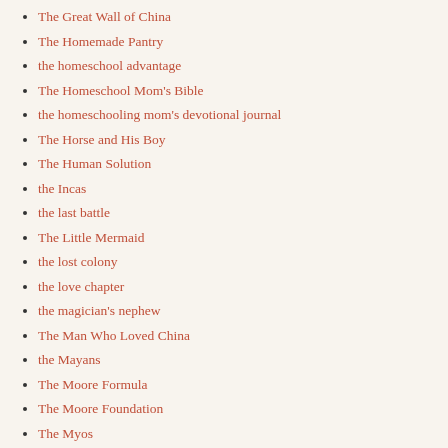The Great Wall of China
The Homemade Pantry
the homeschool advantage
The Homeschool Mom's Bible
the homeschooling mom's devotional journal
The Horse and His Boy
The Human Solution
the Incas
the last battle
The Little Mermaid
the lost colony
the love chapter
the magician's nephew
The Man Who Loved China
the Mayans
The Moore Formula
The Moore Foundation
The Myos